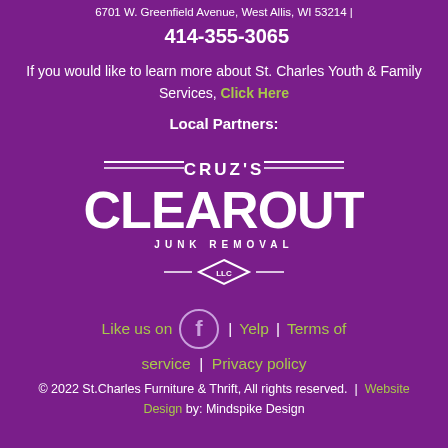6701 W. Greenfield Avenue, West Allis, WI 53214 | 414-355-3065
If you would like to learn more about St. Charles Youth & Family Services, Click Here
Local Partners:
[Figure (logo): Cruz's Clearout Junk Removal LLC logo in white on purple background]
Like us on [Facebook icon] | Yelp | Terms of service | Privacy policy
© 2022 St.Charles Furniture & Thrift, All rights reserved. | Website Design by: Mindspike Design